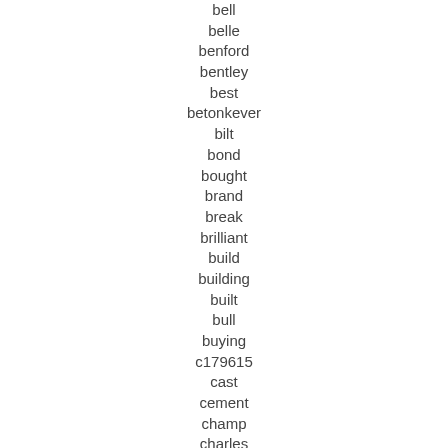bell
belle
benford
bentley
best
betonkever
bilt
bond
bought
brand
break
brilliant
build
building
built
bull
buying
c179615
cast
cement
champ
charles
clarke
cm120
collomix
commercial